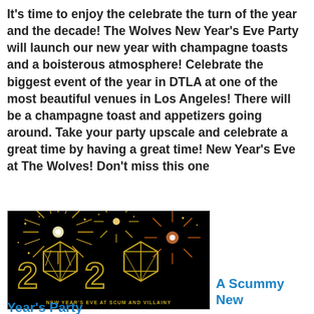It's time to enjoy the celebrate the turn of the year and the decade! The Wolves New Year's Eve Party will launch our new year with champagne toasts and a boisterous atmosphere! Celebrate the biggest event of the year in DTLA at one of the most beautiful venues in Los Angeles! There will be a champagne toast and appetizers going around. Take your party upscale and celebrate a great time by having a great time! New Year's Eve at The Wolves! Don't miss this one
[Figure (illustration): New Year's Eve 2020 promotional image with gold fireworks on black background, large '2020' text with dice icons replacing the zeros, caption 'NEW YEAR'S EVE AT SCUM AND VILLAINY']
A Scummy New Year's Party